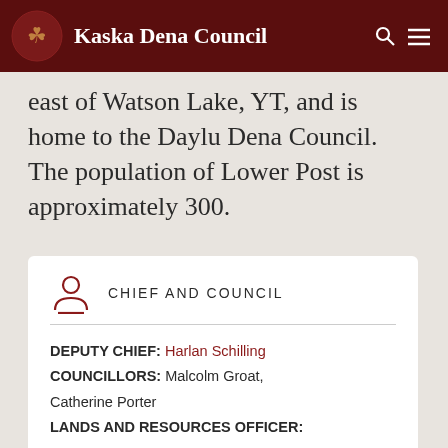Kaska Dena Council
east of Watson Lake, YT, and is home to the Daylu Dena Council. The population of Lower Post is approximately 300.
CHIEF AND COUNCIL
DEPUTY CHIEF: Harlan Schilling
COUNCILLORS: Malcolm Groat, Catherine Porter
LANDS AND RESOURCES OFFICER: Vanessa Law